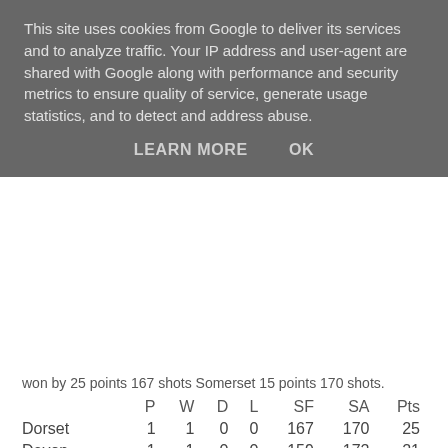This site uses cookies from Google to deliver its services and to analyze traffic. Your IP address and user-agent are shared with Google along with performance and security metrics to ensure quality of service, generate usage statistics, and to detect and address abuse.
LEARN MORE   OK
won by 25 points 167 shots Somerset 15 points 170 shots.
|  | P | W | D | L | SF | SA | Pts |
| --- | --- | --- | --- | --- | --- | --- | --- |
| Dorset | 1 | 1 | 0 | 0 | 167 | 170 | 25 |
| Devon | 1 | 1 | 0 | 0 | 159 | 172 | 21 |
| Cornwall | 1 | 0 | 0 | 1 | 172 | 159 | 19 |
| Somerset | 1 | 0 | 0 | 1 | 170 | 167 | 15 |
Cornwall's A Team made a slow start in the first session winning a solitary game thanks to Betty Temple Smith & Max Burden's 15-8 win in the Pairs.  The second session proved much better for Cornwall as they claimed 3 out of 4 games. Ruth Newbury, Tony Jago & Carolyn Matthews came from behind to win 9-7 in the Triples and both Fours posted wins. Graham Luko, Carol Ford, Pam Williams & Brian Wakolow